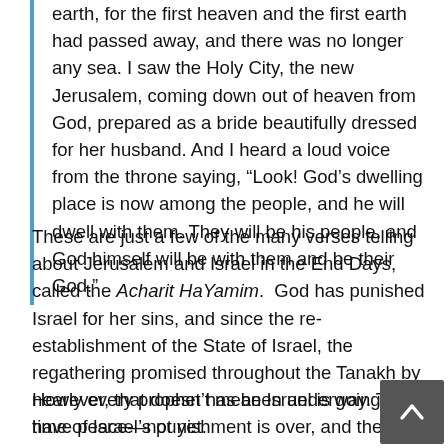earth, for the first heaven and the first earth had passed away, and there was no longer any sea. I saw the Holy City, the new Jerusalem, coming down out of heaven from God, prepared as a bride beautifully dressed for her husband. And I heard a loud voice from the throne saying, “Look! God’s dwelling place is now among the people, and he will dwell with them. They will be his people, and God himself will be with them and be their God.”
These are just a few of the many verses telling about Jerusalem and Israel in the End Days, called the Acharit HaYamim. God has punished Israel for her sins, and since the re-establishment of the State of Israel, the regathering promised throughout the Tanakh by nearly every prophet has been underway. The time of Israel’s punishment is over, and the time for the punishment of the nations is starting.
However, that doesn’t mean Israel is going to have peace—not yet.